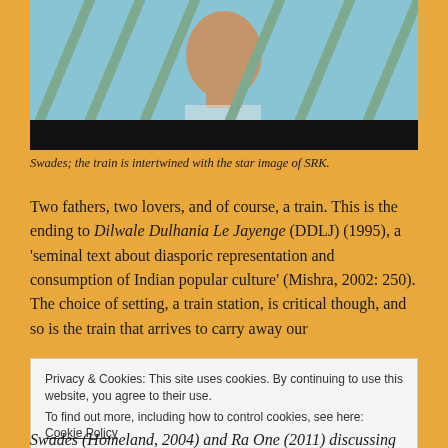[Figure (photo): A close-up photograph of a man (SRK) seen through metal bars/railings, with a blue/teal background. The bottom portion of the image is a black bar. From the film Swades.]
Swades; the train is intertwined with the star image of SRK.
Two fathers, two lovers, and of course, a train. This is the ending to Dilwale Dulhania Le Jayenge (DDLJ) (1995), a 'seminal text about diasporic representation and consumption of Indian popular culture' (Mishra, 2002: 250). The choice of setting, a train station, is critical though, and so is the train that arrives to carry away our
Privacy & Cookies: This site uses cookies. By continuing to use this website, you agree to their use.
To find out more, including how to control cookies, see here: Cookie Policy
[Close and accept]
Swades (Homeland, 2004) and Ra One (2011) discussing